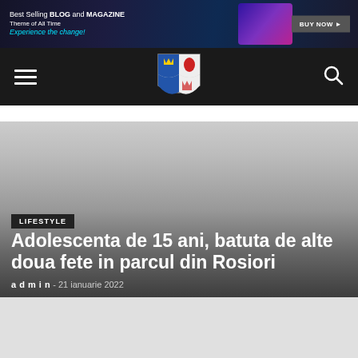[Figure (screenshot): Dark banner advertisement: Best Selling BLOG and MAGAZINE Theme of All Time, Experience the change!, with BUY NOW button and tablet image]
Navigation bar with hamburger menu, coat of arms logo, and search icon
[Figure (photo): Hero image area with dark gradient overlay]
LIFESTYLE
Adolescenta de 15 ani, batuta de alte doua fete in parcul din Rosiori
admin - 21 ianuarie 2022